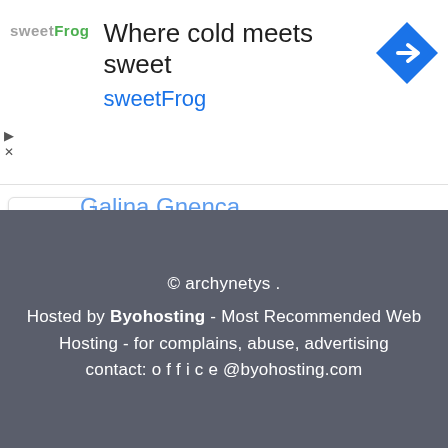[Figure (infographic): SweetFrog advertisement banner with logo, tagline 'Where cold meets sweet', brand name 'sweetFrog', and a blue navigation icon on the right]
Galina Gnenca
Viral
Book Store Online
Japan
China News
© archynetys . Hosted by Byohosting - Most Recommended Web Hosting - for complains, abuse, advertising contact: o f f i c e @byohosting.com